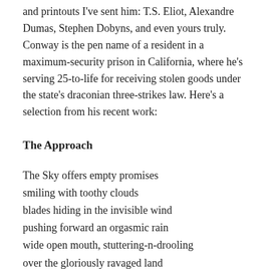and printouts I've sent him: T.S. Eliot, Alexandre Dumas, Stephen Dobyns, and even yours truly. Conway is the pen name of a resident in a maximum-security prison in California, where he's serving 25-to-life for receiving stolen goods under the state's draconian three-strikes law. Here's a selection from his recent work:
The Approach
The Sky offers empty promises
smiling with toothy clouds
blades hiding in the invisible wind
pushing forward an orgasmic rain
wide open mouth, stuttering-n-drooling
over the gloriously ravaged land
polished and preened for the dance